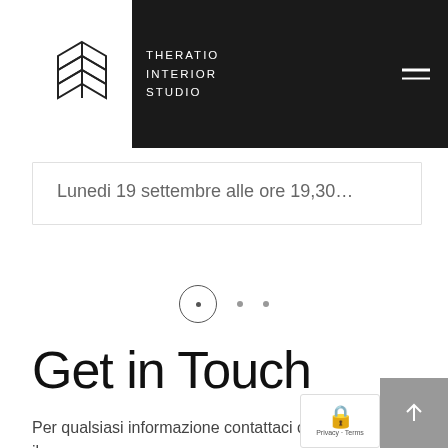THERATIO INTERIOR STUDIO
Lunedi 19 settembre alle ore 19,30…
[Figure (other): Pagination indicator with three dots: first dot enclosed in a circle (active), two plain dots following]
Get in Touch
Per qualsiasi informazione contattaci compilando il segu… modulo